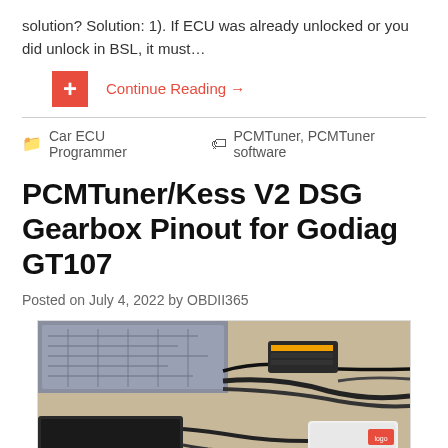solution? Solution: 1). If ECU was already unlocked or you did unlock in BSL, it must…
Continue Reading →
Car ECU Programmer   PCMTuner, PCMTuner software
PCMTuner/Kess V2 DSG Gearbox Pinout for Godiag GT107
Posted on July 4, 2022 by OBDII365
[Figure (photo): Photo of PCMTuner/Kess V2 device connected to a DSG gearbox with cables on a table]